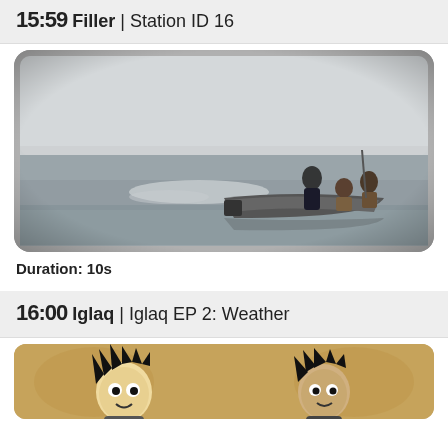15:59 Filler | Station ID 16
[Figure (photo): Black and white photo inside a TV screen frame showing people on a motorboat on calm water, with a horizon behind them]
Duration: 10s
16:00 Iglaq | Iglaq EP 2: Weather
[Figure (photo): Illustration or animation still showing cartoon characters with spiky hair on a tan/brown aged background]